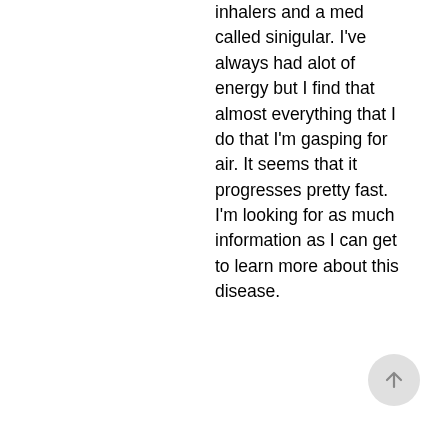inhalers and a med called sinigular. I've always had alot of energy but I find that almost everything that I do that I'm gasping for air. It seems that it progresses pretty fast. I'm looking for as much information as I can get to learn more about this disease.